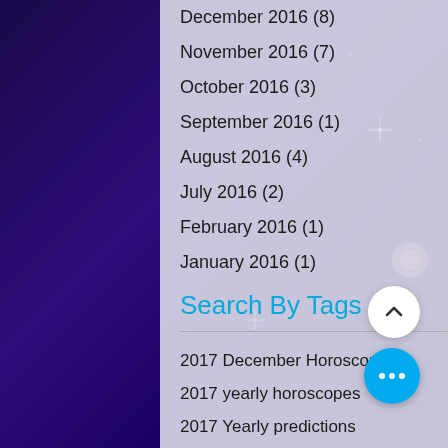December 2016 (8)
November 2016 (7)
October 2016 (3)
September 2016 (1)
August 2016 (4)
July 2016 (2)
February 2016 (1)
January 2016 (1)
Search By Tags
2017 December Horoscopes
2017 yearly horoscopes
2017 Yearly predictions
2018 Aquarius Horoscope
2018 Aries horoscope
2018 Cancer Horoscope